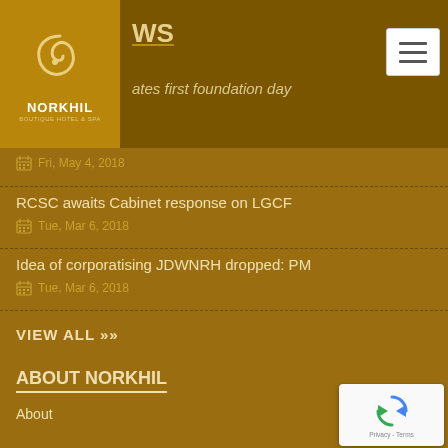NEWS
[Figure (logo): Norkhil Boutique Hotel & Spa logo with decorative swirl on golden background]
...ates first foundation day
Fri, May 4, 2018
RCSC awaits Cabinet response on LGCF
Tue, Mar 6, 2018
Idea of corporatising JDWNRH dropped: PM
Tue, Mar 6, 2018
VIEW ALL »
ABOUT NORKHIL
About